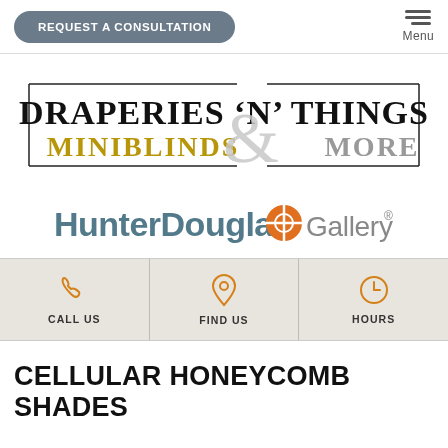REQUEST A CONSULTATION | Menu
[Figure (logo): Draperies 'N' Things Mini Blinds & More brand logo with decorative ampersand]
[Figure (logo): HunterDouglas Gallery partner logo with orange circular icon]
CALL US | FIND US | HOURS
CELLULAR HONEYCOMB SHADES